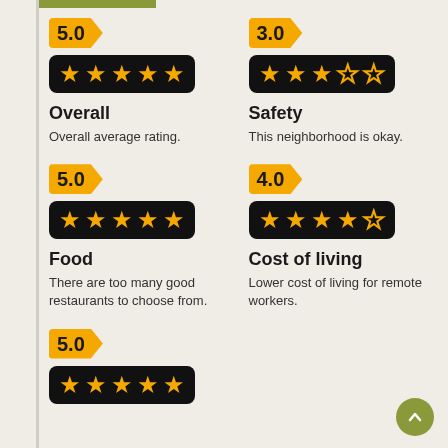[Figure (infographic): Rating badge showing 5.0 with arrow shape in gold/orange]
[Figure (infographic): 5 filled gold stars on black background - Overall rating]
Overall
Overall average rating.
[Figure (infographic): Rating badge showing 3.0 with arrow shape in gold/orange]
[Figure (infographic): 3 filled gold stars and 2 empty stars on black background - Safety rating]
Safety
This neighborhood is okay.
[Figure (infographic): Rating badge showing 5.0 with arrow shape in gold/orange]
[Figure (infographic): 5 filled gold stars on black background - Food rating]
Food
There are too many good restaurants to choose from.
[Figure (infographic): Rating badge showing 4.0 with arrow shape in gold/orange]
[Figure (infographic): 4 filled gold stars and 1 empty star on black background - Cost of living rating]
Cost of living
Lower cost of living for remote workers.
[Figure (infographic): Rating badge showing 5.0 with arrow shape in gold/orange]
[Figure (infographic): 5 filled gold stars on black background - partial view at bottom]